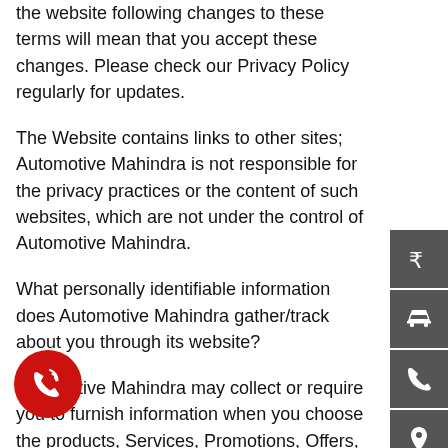the website following changes to these terms will mean that you accept these changes. Please check our Privacy Policy regularly for updates.
The Website contains links to other sites; Automotive Mahindra is not responsible for the privacy practices or the content of such websites, which are not under the control of Automotive Mahindra.
What personally identifiable information does Automotive Mahindra gather/track about you through its website?
Automotive Mahindra may collect or require you to furnish information when you choose the products, Services, Promotions, Offers, etc. available in this Website. Automotive Mahindra